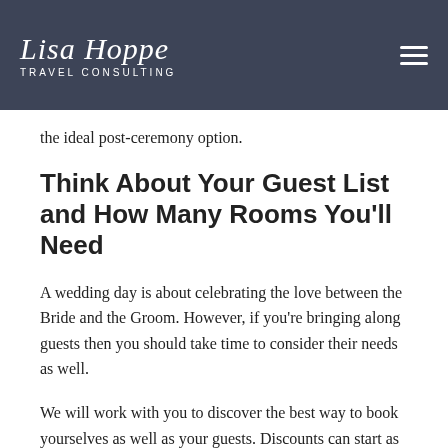Lisa Hoppe Travel Consulting
the ideal post-ceremony option.
Think About Your Guest List and How Many Rooms You'll Need
A wedding day is about celebrating the love between the Bride and the Groom. However, if you're bringing along guests then you should take time to consider their needs as well.
We will work with you to discover the best way to book yourselves as well as your guests. Discounts can start as soon as you have 5 rooms booked with Lisa Hoppe Travel. Larger groups get even more specials like 6th/12th Room Free, A Free Honeymoon Room for the Bride & Groom and